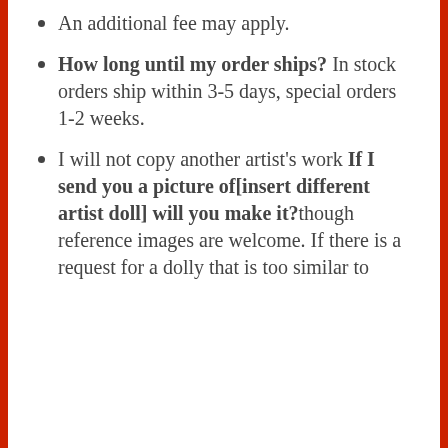An additional fee may apply.
How long until my order ships? In stock orders ship within 3-5 days, special orders 1-2 weeks.
I will not copy another artist’s work If I send you a picture of[insert different artist doll] will you make it?though reference images are welcome. If there is a request for a dolly that is too similar to another artist’s work...